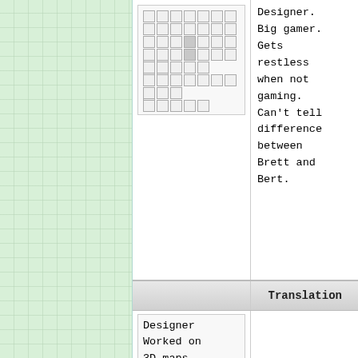[Figure (other): Green graph-paper background panel on the left side of the page]
[Japanese text rendered as placeholder character boxes]
Designer. Big gamer. Gets restless when not gaming. Can't tell difference between Brett and Bert.
Translation
Designer Worked on 3D maps